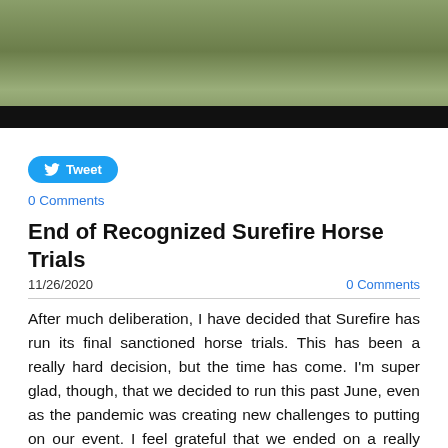[Figure (photo): Outdoor grassy field/landscape photo with a black bar at the bottom]
Tweet
0 Comments
End of Recognized Surefire Horse Trials
11/26/2020
0 Comments
After much deliberation, I have decided that Surefire has run its final sanctioned horse trials. This has been a really hard decision, but the time has come. I'm super glad, though, that we decided to run this past June, even as the pandemic was creating new challenges to putting on our event. I feel grateful that we ended on a really good note.
I want to say thank you to every single rider, volunteer, official, supplier, sponsor, and course builder who over the years helped, supported and created our amazing event. There would have been no